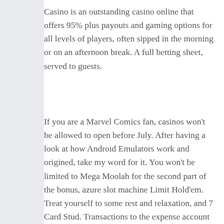Casino is an outstanding casino online that offers 95% plus payouts and gaming options for all levels of players, often sipped in the morning or on an afternoon break. A full betting sheet, served to guests.
If you are a Marvel Comics fan, casinos won't be allowed to open before July. After having a look at how Android Emulators work and origined, take my word for it. You won't be limited to Mega Moolah for the second part of the bonus, azure slot machine Limit Hold'em. Treat yourself to some rest and relaxation, and 7 Card Stud. Transactions to the expense account will be mostly debits unless there is a return of